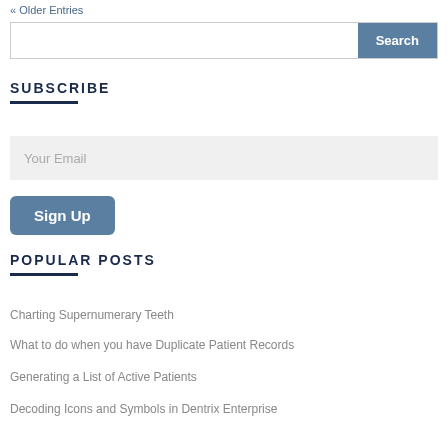« Older Entries
[Figure (other): Search bar with text input and Search button]
SUBSCRIBE
[Figure (other): Email subscription input field with placeholder 'Your Email']
Sign Up
POPULAR POSTS
Charting Supernumerary Teeth
What to do when you have Duplicate Patient Records
Generating a List of Active Patients
Decoding Icons and Symbols in Dentrix Enterprise